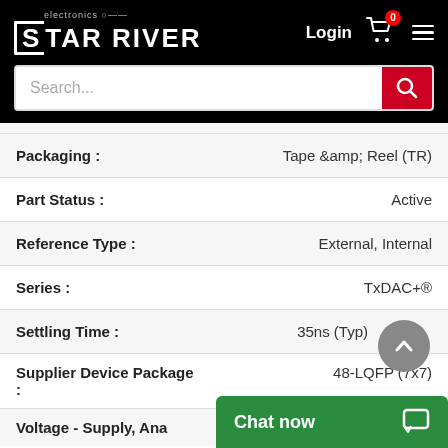STAR RIVER electronics — Login | Cart | Menu
| Property | Value |
| --- | --- |
| Packaging : | Tape &amp; Reel (TR) |
| Part Status : | Active |
| Reference Type : | External, Internal |
| Series : | TxDAC+® |
| Settling Time : | 35ns (Typ) |
| Supplier Device Package : | 48-LQFP (7x7) |
| Voltage - Supply, Ana… |  |